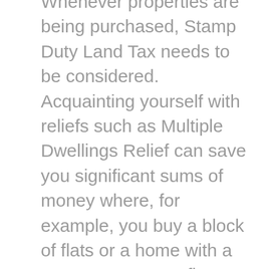Whenever properties are being purchased, Stamp Duty Land Tax needs to be considered. Acquainting yourself with reliefs such as Multiple Dwellings Relief can save you significant sums of money where, for example, you buy a block of flats or a home with a separate, “granny flat” or annex. Similarly though there are traps for the unwary. Say you buy a house through a company and, two years later, decide to rent it out to a close relative. In these circumstances, you could be facing a 15% punitive SDLT rate on the full value of the property. For an average home, valued at £268,000, that’s an extra £40,200 bill that